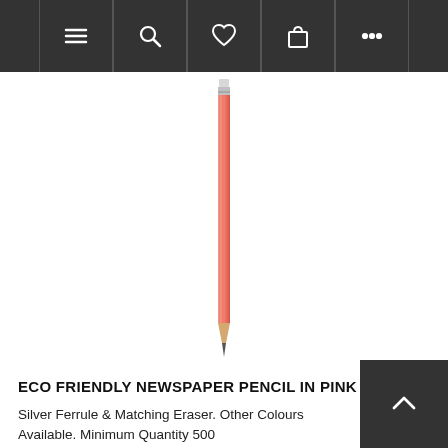Navigation bar with menu, search, wishlist, cart, and more icons
[Figure (photo): A pink eco-friendly newspaper pencil with silver ferrule and graphite tip, oriented vertically against a white background.]
ECO FRIENDLY NEWSPAPER PENCIL IN PINK
Silver Ferrule & Matching Eraser. Other Colours Available. Minimum Quantity 500